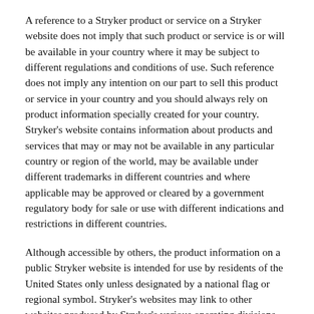A reference to a Stryker product or service on a Stryker website does not imply that such product or service is or will be available in your country where it may be subject to different regulations and conditions of use. Such reference does not imply any intention on our part to sell this product or service in your country and you should always rely on product information specially created for your country. Stryker's website contains information about products and services that may or may not be available in any particular country or region of the world, may be available under different trademarks in different countries and where applicable may be approved or cleared by a government regulatory body for sale or use with different indications and restrictions in different countries.
Although accessible by others, the product information on a public Stryker website is intended for use by residents of the United States only unless designated by a national flag or regional symbol. Stryker's websites may link to other websites produced by Stryker's various operating divisions and subsidiaries, some of which are outside the US. Those Stryker websites may have information that is appropriate only to the particular originating country or region where the website is based. You should not construe anything on a linked website as a promotion or solicitation for any product or for the use of any product that is